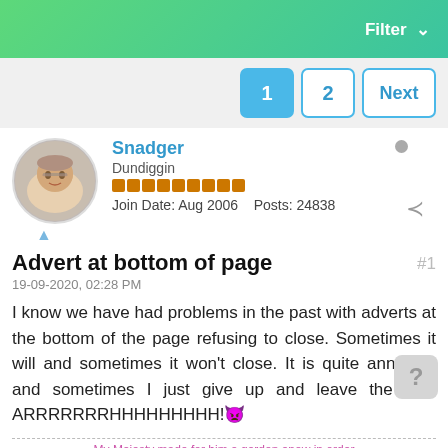Filter
1  2  Next
Snadger
Dundiggin
Join Date: Aug 2006  Posts: 24838
Advert at bottom of page
19-09-2020, 02:28 PM
I know we have had problems in the past with adverts at the bottom of the page refusing to close. Sometimes it will and sometimes it won't close. It is quite annoying and sometimes I just give up and leave the site. ARRRRRRRHHHHHHHHH!😠
My Majesty made for him a garden anew in order